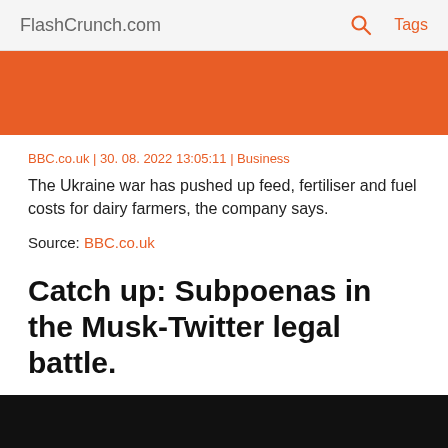FlashCrunch.com 🔍 Tags
[Figure (other): Orange/red solid color banner image]
BBC.co.uk | 30. 08. 2022 13:05:11 | Business
The Ukraine war has pushed up feed, fertiliser and fuel costs for dairy farmers, the company says.
Source: BBC.co.uk
Catch up: Subpoenas in the Musk-Twitter legal battle.
[Figure (photo): Black image/banner at the bottom of the page]